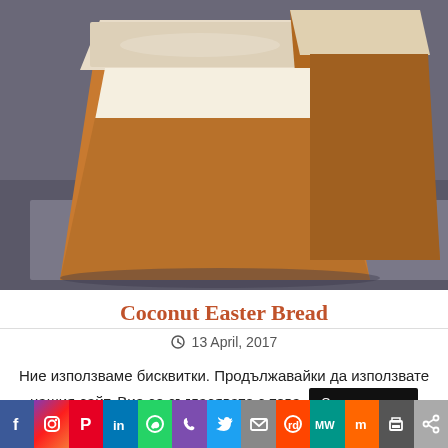[Figure (photo): Close-up photo of sliced coconut Easter bread on a dark slate surface, showing golden-brown crust with white coconut topping]
Coconut Easter Bread
13 April, 2017
Ние използваме бисквитки. Продължавайки да използвате нашия сайт, Вие се съгласявате с това. Съгласен съм
[Figure (infographic): Social media sharing bar with icons: Facebook, Instagram, Pinterest, LinkedIn, WhatsApp, Viber, Twitter, Email, Reddit, MeWe, Mix, Print, Share]